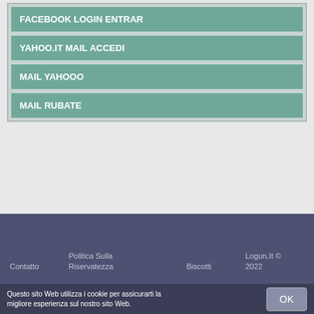FACEBOOK LOGIN ENTRAR
YAHOO.IT MAIL ACCEDI
MAIL YAHOOO
MAIL RUBATE
Contatto   Politica Sulla Riservatezza   Biscotti   Logun.It © 2022
Questo sito Web utilizza i cookie per assicurarti la migliore esperienza sul nostro sito Web.